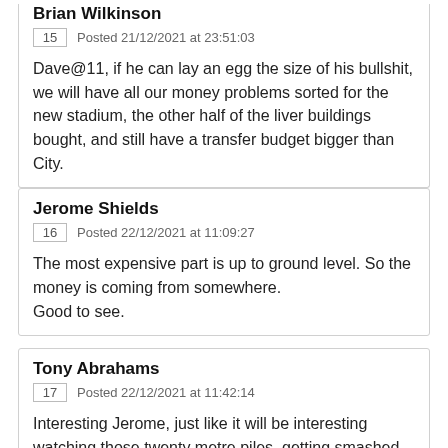Brian Wilkinson
15   Posted 21/12/2021 at 23:51:03
Dave@11, if he can lay an egg the size of his bullshit, we will have all our money problems sorted for the new stadium, the other half of the liver buildings bought, and still have a transfer budget bigger than City.
Jerome Shields
16   Posted 22/12/2021 at 11:09:27
The most expensive part is up to ground level. So the money is coming from somewhere.
Good to see.
Tony Abrahams
17   Posted 22/12/2021 at 11:42:14
Interesting Jerome, just like it will be interesting watching those twenty metre piles, getting smashed so far into the